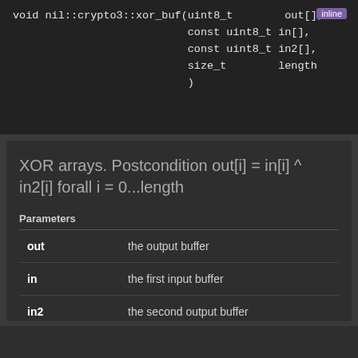[Figure (screenshot): Dark-themed code block showing function signature: void nil::crypto3::xor_buf(uint8_t out[], const uint8_t in[], const uint8_t in2[], size_t length) with an 'inline' badge]
XOR arrays. Postcondition out[i] = in[i] ^ in2[i] forall i = 0...length
Parameters
| Parameter | Description |
| --- | --- |
| out | the output buffer |
| in | the first input buffer |
| in2 | the second output buffer |
| length | the length of the three buffers |